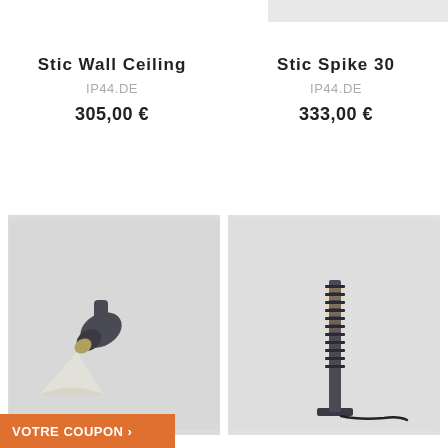Stic Wall Ceiling
IP44.DE
305,00 €
Stic Spike 30
IP44.DE
333,00 €
[Figure (photo): Dark gray wall/ceiling spotlight lamp casting light downward on white surface]
[Figure (photo): Dark gray tall spike/bollard outdoor lamp with horizontal slats, standing on square base with cable]
VOTRE COUPON 🏷